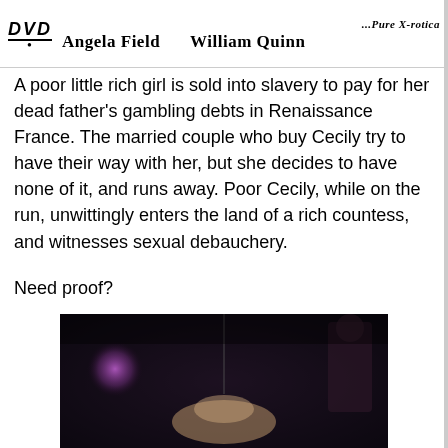[Figure (logo): DVD logo with Angela Field and William Quinn cast names and ...Pure X-rotica branding]
A poor little rich girl is sold into slavery to pay for her dead father's gambling debts in Renaissance France. The married couple who buy Cecily try to have their way with her, but she decides to have none of it, and runs away. Poor Cecily, while on the run, unwittingly enters the land of a rich countess, and witnesses sexual debauchery.
Need proof?
[Figure (photo): Dark scene photograph showing figures in a dimly lit setting with purple lighting]